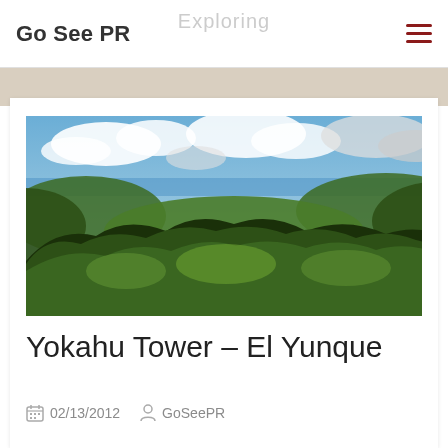Go See PR
Exploring
[Figure (photo): Panoramic view of El Yunque rainforest canopy with mountains receding into the distance, ocean visible on the horizon, blue sky with white clouds above.]
Yokahu Tower – El Yunque
02/13/2012   GoSeePR
[Figure (photo): Second landscape photo showing mountainous terrain with cloudy sky, partial view at bottom of page.]